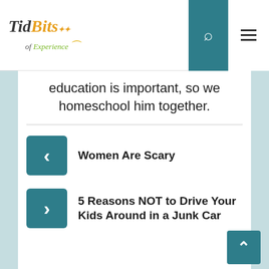TidBits of Experience - navigation bar with logo, search, and menu icons
education is important, so we homeschool him together.
Women Are Scary
5 Reasons NOT to Drive Your Kids Around in a Junk Car